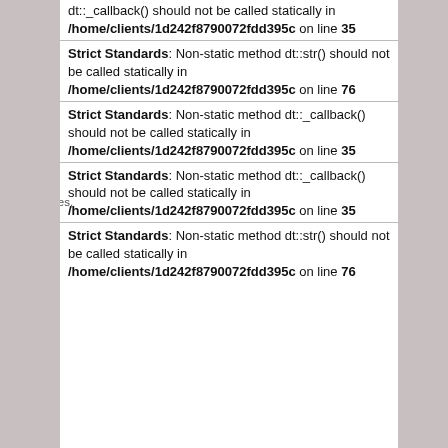dt::_callback() should not be called statically in /home/clients/1d242f8790072fdd395c on line 35
Strict Standards: Non-static method dt::str() should not be called statically in /home/clients/1d242f8790072fdd395c on line 76
Strict Standards: Non-static method dt::_callback() should not be called statically in /home/clients/1d242f8790072fdd395c on line 35
Strict Standards: Non-static method dt::_callback() should not be called statically in /home/clients/1d242f8790072fdd395c on line 35
Strict Standards: Non-static method dt::str() should not be called statically in /home/clients/1d242f8790072fdd395c on line 76